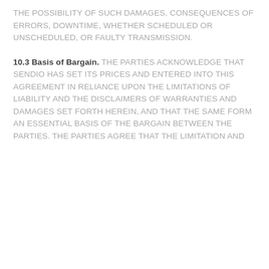THE POSSIBILITY OF SUCH DAMAGES, CONSEQUENCES OF ERRORS, DOWNTIME, WHETHER SCHEDULED OR UNSCHEDULED, OR FAULTY TRANSMISSION.
10.3 Basis of Bargain. THE PARTIES ACKNOWLEDGE THAT SENDIO HAS SET ITS PRICES AND ENTERED INTO THIS AGREEMENT IN RELIANCE UPON THE LIMITATIONS OF LIABILITY AND THE DISCLAIMERS OF WARRANTIES AND DAMAGES SET FORTH HEREIN, AND THAT THE SAME FORM AN ESSENTIAL BASIS OF THE BARGAIN BETWEEN THE PARTIES. THE PARTIES AGREE THAT THE LIMITATION AND